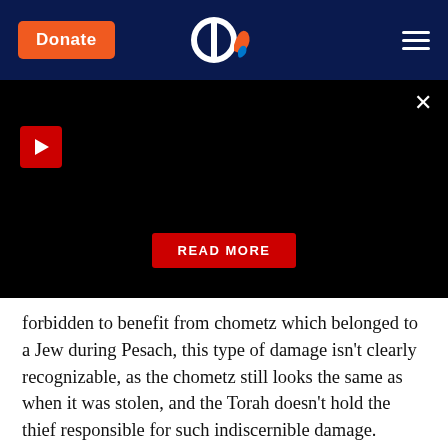[Figure (screenshot): Aish.com website navigation bar with dark navy background, orange Donate button, Aish logo in center, and hamburger menu on right]
[Figure (screenshot): Black video/media player area with red play button in top left, close X button in top right, and red READ MORE button at bottom center]
forbidden to benefit from chometz which belonged to a Jew during Pesach, this type of damage isn't clearly recognizable, as the chometz still looks the same as when it was stolen, and the Torah doesn't hold the thief responsible for such indiscernible damage.
The Pri Megadim (OC 656) maintains that this law would also apply to a thief returning a stolen esrog after Sukkos, and by doing so, the thief would fulfill his mitzvah of returning the stolen object even though it